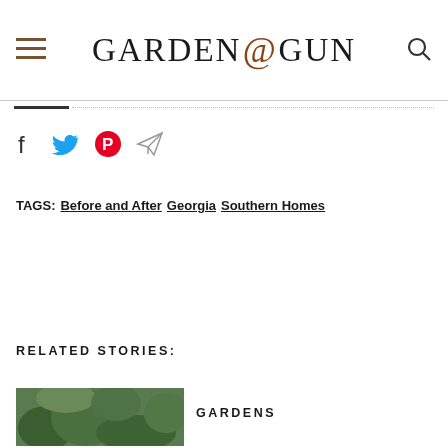GARDEN&GUN
TAGS: Before and After Georgia Southern Homes
RELATED STORIES:
GARDENS